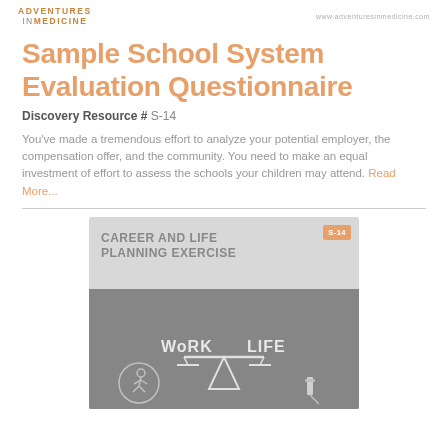ADVENTURES IN MEDICINE | www.adventuresinmedicine.com
Sample School System Evaluation Questionnaire
Discovery Resource # S-14
You've made a tremendous effort to analyze your potential employer, the compensation offer, and the community. You need to make an equal investment of effort to assess the schools your children may attend. Read More...
[Figure (infographic): Career and Life Planning Exercise card with badge showing 'S-14', and an image of a work-life balance scale on a chalkboard background with 'WORK' and 'LIFE' text and a hand holding chalk.]